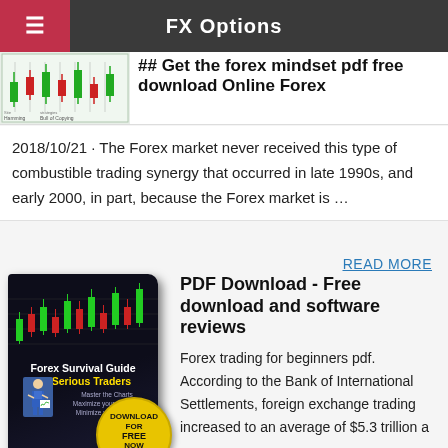FX Options
## Get the forex mindset pdf free download Online Forex
2018/10/21 · The Forex market never received this type of combustible trading synergy that occurred in late 1990s, and early 2000, in part, because the Forex market is …
READ MORE
[Figure (illustration): Book cover for 'Forex Survival Guide for Serious Traders' with a Download For Free Now badge]
PDF Download - Free download and software reviews
Forex trading for beginners pdf. According to the Bank of International Settlements, foreign exchange trading increased to an average of $5.3 trillion a day. To simply break this down, the average has to be $220 billion per an hour. The foreign